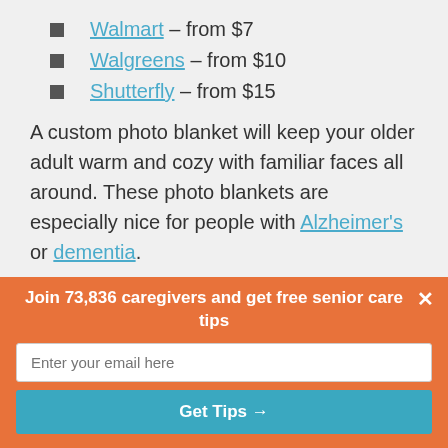Walmart – from $7
Walgreens – from $10
Shutterfly – from $15
A custom photo blanket will keep your older adult warm and cozy with familiar faces all around. These photo blankets are especially nice for people with Alzheimer's or dementia.
Walmart – from $44
Shutterfly (photo blanket) – from $39
Join 73,836 caregivers and get free senior care tips
Enter your email here
Get Tips →